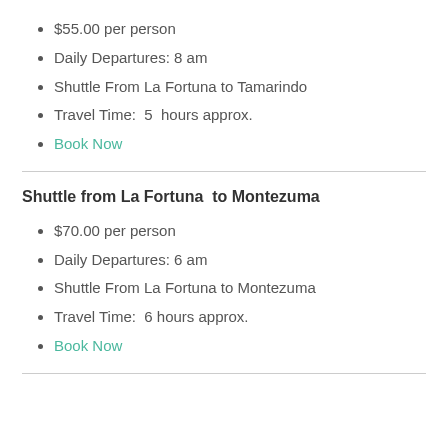$55.00 per person
Daily Departures: 8 am
Shuttle From La Fortuna to Tamarindo
Travel Time:  5  hours approx.
Book Now
Shuttle from La Fortuna  to Montezuma
$70.00 per person
Daily Departures: 6 am
Shuttle From La Fortuna to Montezuma
Travel Time:  6 hours approx.
Book Now